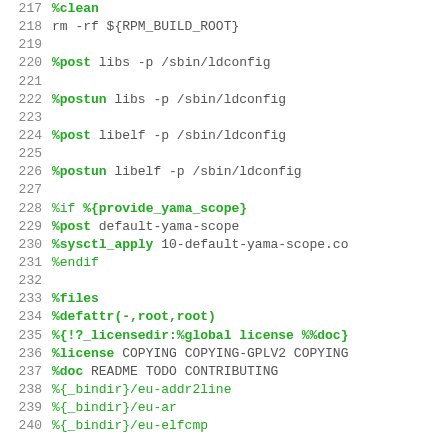217  %clean
218  rm -rf ${RPM_BUILD_ROOT}
219
220  %post libs -p /sbin/ldconfig
221
222  %postun libs -p /sbin/ldconfig
223
224  %post libelf -p /sbin/ldconfig
225
226  %postun libelf -p /sbin/ldconfig
227
228  %if %{provide_yama_scope}
229  %post default-yama-scope
230  %sysctl_apply 10-default-yama-scope.co
231  %endif
232
233  %files
234  %defattr(-,root,root)
235  %{!?_licensedir:%global license %%doc}
236  %license COPYING COPYING-GPLV2 COPYING
237  %doc README TODO CONTRIBUTING
238  %{_bindir}/eu-addr2line
239  %{_bindir}/eu-ar
240  %{_bindir}/eu-elfcmp